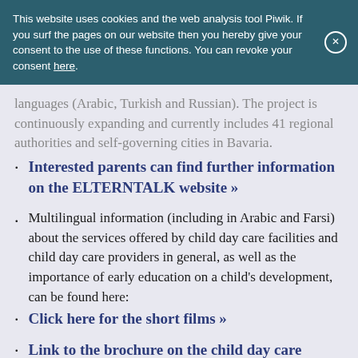This website uses cookies and the web analysis tool Piwik. If you surf the pages on our website then you hereby give your consent to the use of these functions. You can revoke your consent here.
languages (Arabic, Turkish and Russian). The project is continuously expanding and currently includes 41 regional authorities and self-governing cities in Bavaria.
Interested parents can find further information on the ELTERNTALK website »
Multilingual information (including in Arabic and Farsi) about the services offered by child day care facilities and child day care providers in general, as well as the importance of early education on a child's development, can be found here:
Click here for the short films »
Link to the brochure on the child day care